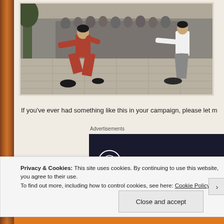[Figure (photo): Two men in a martial arts sparring pose on a stone courtyard. The man on the left wears a red/rust-colored traditional Chinese kung-fu outfit in a low stance with his hand extended. The man on the right wears a white shirt and gray pants, stepping forward. A group of onlookers stands in the background.]
If you've ever had something like this in your campaign, please let m
Advertisements
[Figure (logo): Sensei advertisement banner with dark background showing a circular tree icon and 'sensei' text in white.]
Privacy & Cookies: This site uses cookies. By continuing to use this website, you agree to their use.
To find out more, including how to control cookies, see here: Cookie Policy